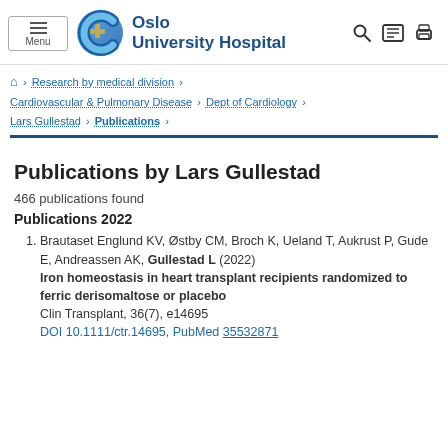Oslo University Hospital — Menu / Navigation header with logo
Research by medical division › Cardiovascular & Pulmonary Disease › Dept of Cardiology › Lars Gullestad › Publications ›
Publications by Lars Gullestad
466 publications found
Publications 2022
Brautaset Englund KV, Østby CM, Broch K, Ueland T, Aukrust P, Gude E, Andreassen AK, Gullestad L (2022) Iron homeostasis in heart transplant recipients randomized to ferric derisomaltose or placebo Clin Transplant, 36(7), e14695 DOI 10.1111/ctr.14695, PubMed 35532871